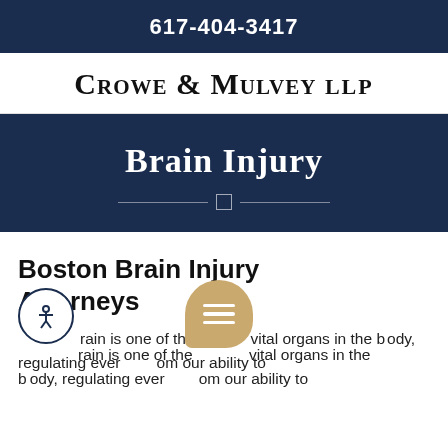617-404-3417
Crowe & Mulvey LLP
Brain Injury
Boston Brain Injury Attorneys
The brain is one of the most vital organs in the body, regulating every function from our ability to